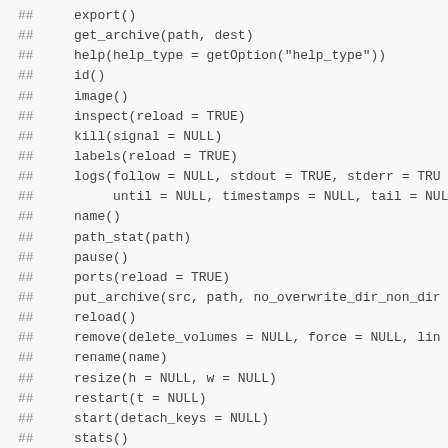##    export()
##    get_archive(path, dest)
##    help(help_type = getOption("help_type"))
##    id()
##    image()
##    inspect(reload = TRUE)
##    kill(signal = NULL)
##    labels(reload = TRUE)
##    logs(follow = NULL, stdout = TRUE, stderr = TRU
##         until = NULL, timestamps = NULL, tail = NUL
##    name()
##    path_stat(path)
##    pause()
##    ports(reload = TRUE)
##    put_archive(src, path, no_overwrite_dir_non_dir
##    reload()
##    remove(delete_volumes = NULL, force = NULL, lin
##    rename(name)
##    resize(h = NULL, w = NULL)
##    restart(t = NULL)
##    start(detach_keys = NULL)
##    stats()
##    status(reload = TRUE)
##    stop(t = NULL)
##    top(ps_args = NULL)